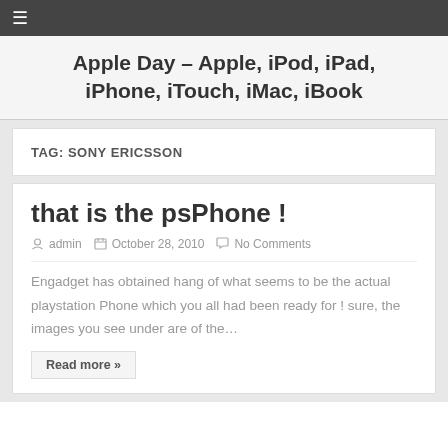≡
Apple Day – Apple, iPod, iPad, iPhone, iTouch, iMac, iBook
TAG: SONY ERICSSON
that is the psPhone !
admin   October 28, 2010   No Comments
Engadget has obtained hang of what seems to be the actual playstation Phone which you all had been ready for ! sure, the images you see under are of the…
Read more »